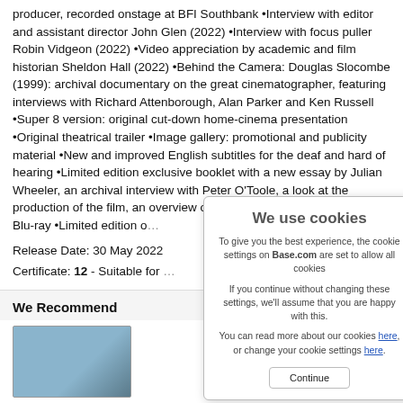producer, recorded onstage at BFI Southbank •Interview with editor and assistant director John Glen (2022) •Interview with focus puller Robin Vidgeon (2022) •Video appreciation by academic and film historian Sheldon Hall (2022) •Behind the Camera: Douglas Slocombe (1999): archival documentary on the great cinematographer, featuring interviews with Richard Attenborough, Alan Parker and Ken Russell •Super 8 version: original cut-down home-cinema presentation •Original theatrical trailer •Image gallery: promotional and publicity material •New and improved English subtitles for the deaf and hard of hearing •Limited edition exclusive booklet with a new essay by Julian Wheeler, an archival interview with Peter O'Toole, a look at the production of the film, an overview of contemporary critical resp… on Blu-ray •Limited edition o…
Release Date: 30 May 2022
Certificate: 12 - Suitable for …
We Recommend
[Figure (photo): Blu-ray product image in We Recommend section]
[Figure (other): Cookie consent overlay popup: 'We use cookies' with text about Base.com cookie settings, links 'here' for more info and to change settings, and a Continue button.]